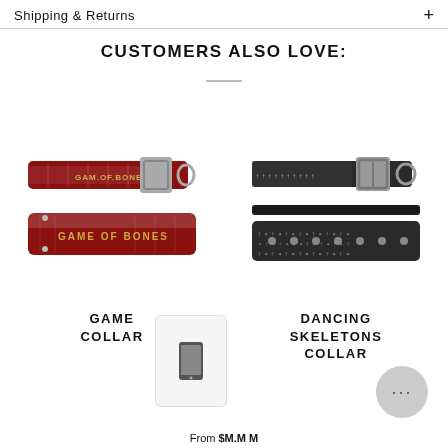Shipping & Returns
CUSTOMERS ALSO LOVE:
[Figure (photo): Two dog collars with 'Game of Bones' branding in dark red with gold lettering and bone pattern, one narrow with silver buckle and one wider]
[Figure (photo): Two dog collars with dancing skeletons pattern in black/grey, one with silver buckle clasp and D-ring, one plain wider collar]
GAME OF BONES COLLAR
DANCING SKELETONS COLLAR